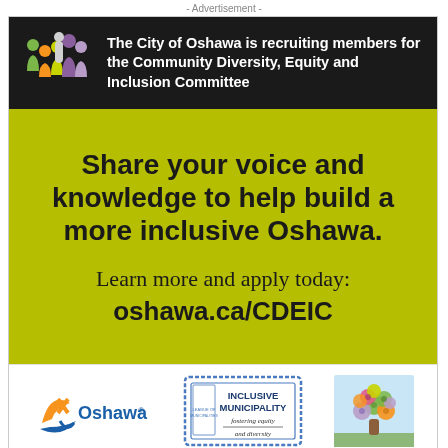- Advertisement -
The City of Oshawa is recruiting members for the Community Diversity, Equity and Inclusion Committee
Share your voice and knowledge to help build a more inclusive Oshawa.
Learn more and apply today: oshawa.ca/CDEIC
[Figure (logo): Oshawa city logo with orange and blue swoosh and text 'Oshawa®']
[Figure (logo): Inclusive Municipality stamp graphic with text 'INCLUSIVE MUNICIPALITY fostering equity and diversity']
[Figure (illustration): Colorful tree illustration with circular patterned leaves in various colors on blue/green background]